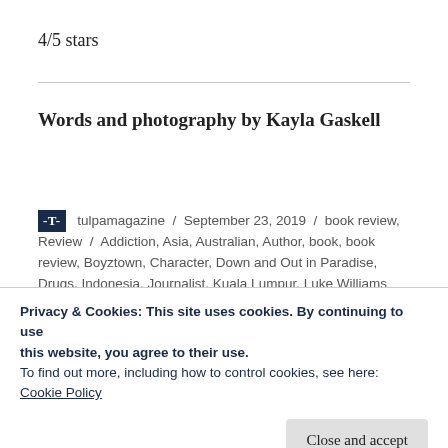4/5 stars
Words and photography by Kayla Gaskell
-T- tulpamagazine / September 23, 2019 / book review, Review / Addiction, Asia, Australian, Author, book, book review, Boyztown, Character, Down and Out in Paradise, Drugs, Indonesia, Journalist, Kuala Lumpur, Luke Williams
Privacy & Cookies: This site uses cookies. By continuing to use this website, you agree to their use.
To find out more, including how to control cookies, see here:
Cookie Policy
Close and accept
[Figure (logo): Bottom logos: stylized T letters in black]